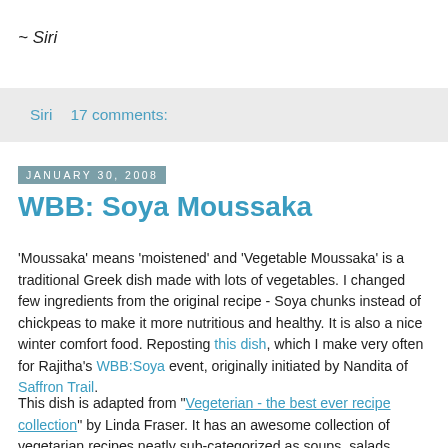~ Siri
Siri   17 comments:
January 30, 2008
WBB: Soya Moussaka
'Moussaka' means 'moistened' and 'Vegetable Moussaka' is a traditional Greek dish made with lots of vegetables. I changed few ingredients from the original recipe - Soya chunks instead of chickpeas to make it more nutritious and healthy. It is also a nice winter comfort food. Reposting this dish, which I make very often for Rajitha's WBB:Soya event, originally initiated by Nandita of Saffron Trail.
This dish is adapted from "Vegeterian - the best ever recipe collection" by Linda Fraser. It has an awesome collection of vegetarian recipes neatly sub-categorized as soups, salads,